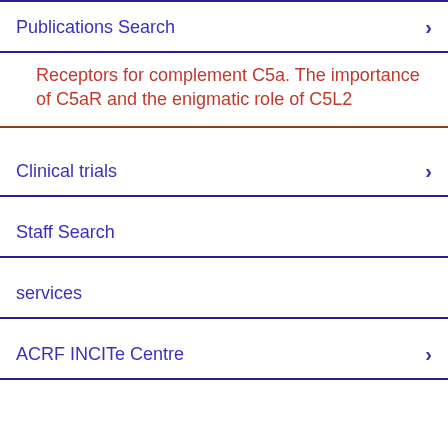Publications Search
Receptors for complement C5a. The importance of C5aR and the enigmatic role of C5L2
Clinical trials
Staff Search
services
ACRF INCITe Centre